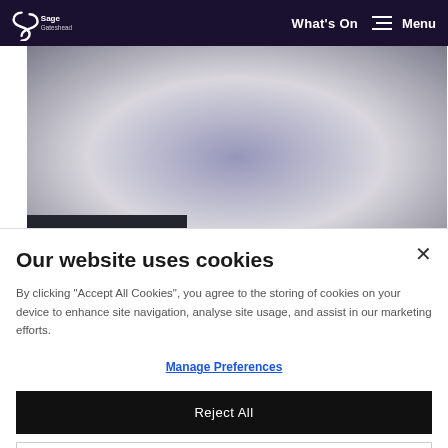Sage Gateshead — What's On | Menu
[Figure (photo): Blurred stage/performance photo with purple and grey tones]
Our website uses cookies
By clicking "Accept All Cookies", you agree to the storing of cookies on your device to enhance site navigation, analyse site usage, and assist in our marketing efforts.
Manage Preferences
Reject All
Accept All Cookies